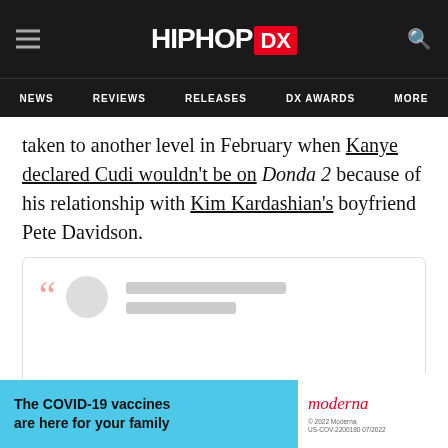HipHopDX — NEWS | REVIEWS | RELEASES | DX AWARDS | MORE
taken to another level in February when Kanye declared Cudi wouldn't be on Donda 2 because of his relationship with Kim Kardashian's boyfriend Pete Davidson.
[Figure (screenshot): Embedded tweet card with placeholder avatar and loading lines, partially loaded social media embed]
[Figure (other): Ad banner: The COVID-19 vaccines are here for your family — Moderna branding]